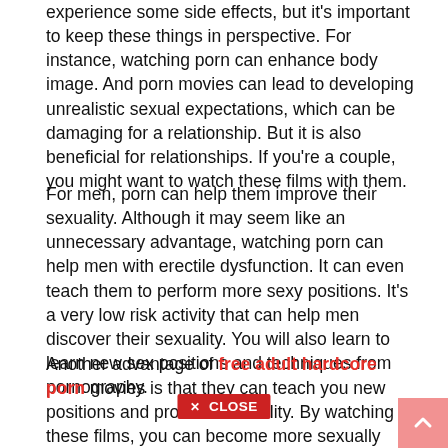experience some side effects, but it's important to keep these things in perspective. For instance, watching porn can enhance body image. And porn movies can lead to developing unrealistic sexual expectations, which can be damaging for a relationship. But it is also beneficial for relationships. If you're a couple, you might want to watch these films with them.
For men, porn can help them improve their sexuality. Although it may seem like an unnecessary advantage, watching porn can help men with erectile dysfunction. It can even teach them to perform more sexy positions. It's a very low risk activity that can help men discover their sexuality. You will also learn to learn new sex positions and techniques from pornography.
Another advantage of free adult hardcore porn movies is that they can teach you new positions and promote sexuality. By watching these films, you can become more sexually active and even get more ideas for new and different settings. Aside from improving your sex life, porn also improves your relationship. So, while porn may not be a cure-all, it can help you build a stronger relationship. You might not be able to